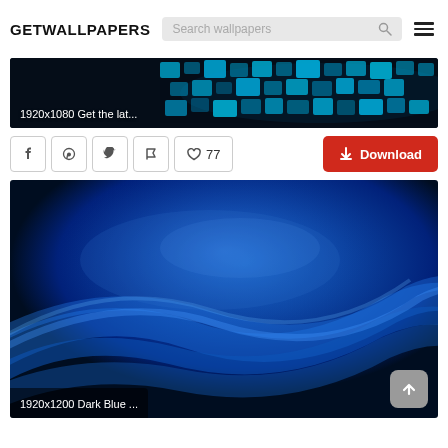GETWALLPAPERS
[Figure (screenshot): Blue glowing cube/squares tech wallpaper with label '1920x1080 Get the lat...']
77
Download
[Figure (photo): Dark blue abstract swirling waves wallpaper with label '1920x1200 Dark Blue ...' and back-to-top button]